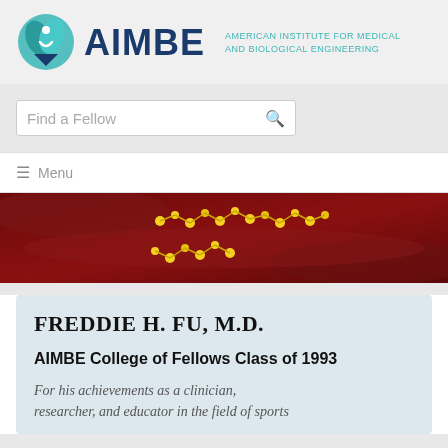[Figure (logo): AIMBE logo with circular teal graphic and dark blue AIMBE text, with tagline 'American Institute for Medical and Biological Engineering']
Find a Fellow
≡ Menu
[Figure (photo): Banner image of red biological cells with yellow molecular structures]
FREDDIE H. FU, M.D.
AIMBE College of Fellows Class of 1993
For his achievements as a clinician, researcher, and educator in the field of sports